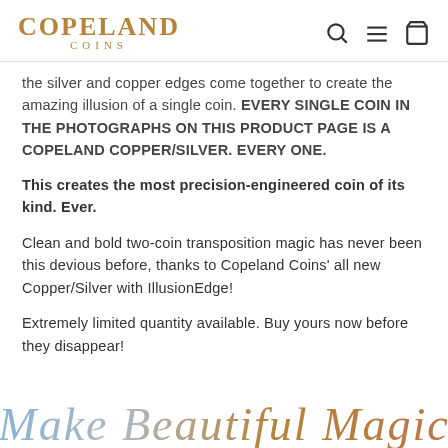Copeland Coins
the silver and copper edges come together to create the amazing illusion of a single coin. EVERY SINGLE COIN IN THE PHOTOGRAPHS ON THIS PRODUCT PAGE IS A COPELAND COPPER/SILVER. EVERY ONE.
This creates the most precision-engineered coin of its kind. Ever.
Clean and bold two-coin transposition magic has never been this devious before, thanks to Copeland Coins' all new Copper/Silver with IllusionEdge!
Extremely limited quantity available. Buy yours now before they disappear!
[Figure (illustration): Partial handwriting text at bottom of page, reading 'Make Beautiful Magic' in multicolored script (blue, silver, copper/brown tones)]